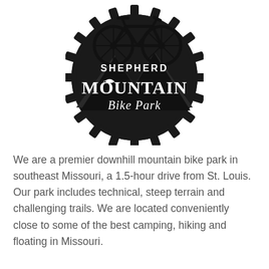[Figure (logo): Shepherd Mountain Bike Park logo: a circular black gear/sprocket with a mountain bike silhouette at top, mountain silhouette in middle, and stylized text reading 'SHEPHERD MOUNTAIN Bike Park' in white lettering on black background.]
We are a premier downhill mountain bike park in southeast Missouri, a 1.5-hour drive from St. Louis. Our park includes technical, steep terrain and challenging trails. We are located conveniently close to some of the best camping, hiking and floating in Missouri.